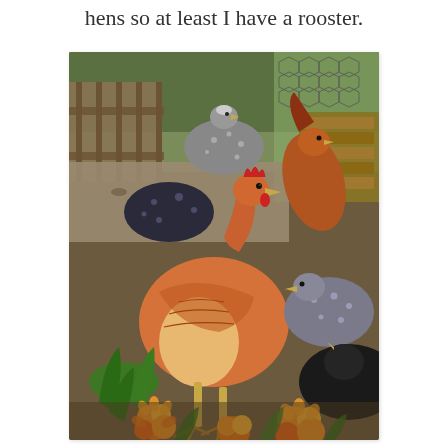hens so at least I have a rooster.
[Figure (photo): A group of chickens of various breeds — including orange/brown hens, a speckled hen, a grey/black hen, and a black hen — foraging in a garden area with orange marigold flowers in the foreground, green plants, and a wire fence and woodpile in the background.]